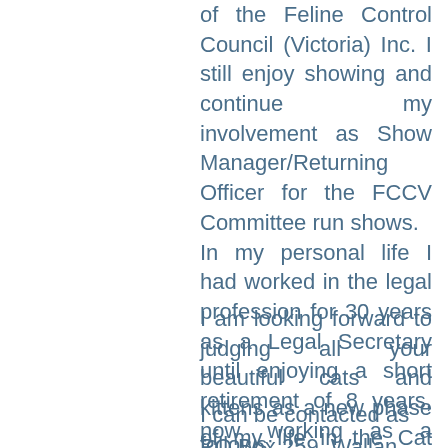of the Feline Control Council (Victoria) Inc. I still enjoy showing and continue my involvement as Show Manager/Returning Officer for the FCCV Committee run shows. In my personal life I had worked in the legal profession for 30 years as a Legal Secretary until enjoying a short retirement of 8 years, now working as a partner in our Motor Vehicle Repair business, attending to office work and payroll.
I am looking forward to judging all your beautiful cats and kittens as a new phase of my life in the Cat Fancy continues.
I can be contacted as follows:
PO Box 259, Wallan, Victoria, 3756